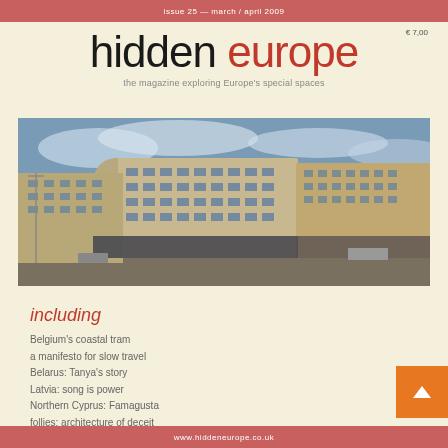issue 25 — march / april 2009
€ 7,00
hidden europe
the magazine exploring Europe's special spaces
[Figure (photo): Street-level panoramic photograph of a row of multi-storey European apartment and commercial buildings with modernist architecture, shot from a wide angle showing a curved corner building with glass facades under a cloudy sky.]
including
Belgium's coastal tram
a manifesto for slow travel
Belarus: Tanya's story
Latvia: song is power
Northern Cyprus: Famagusta
follies: architecture of deceit
www.hiddeneurope.co.uk